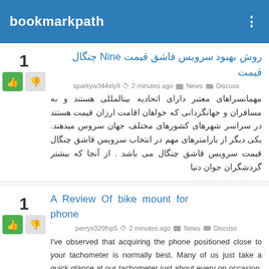bookmarkpath
روش بهبود سرویس فاشق چنگال قیمت Nine
sparkyw344xly9 · 2 minutes ago · News · Discuss
مهمانسراهای معتبر دارای اتحادیه بینالمللی هستند و به مسافران و جهانگردانی که خواهان اقامت ارزان قیمت هستند در سراسر شهرهای کشورهای مختلف جهان سروس میدهند. یکی دیگر از بارامترهای مهم در انتخاب سرویس قاشق چنگال قیمت سرویس قاشق چنگال می باشد . از آنجا که بیشتر گردشگران جوان دنیا
A Review Of bike mount for phone
perryx320fnp5 · 2 minutes ago · News · Discuss
I've observed that acquiring the phone positioned close to your tachometer is normally best. Many of us just take a quick glance at our tachometer just about every on occasion, so acquiring your phone mounted close to this position or effortlessly noticeable even though you're looking straight forward is greatest.